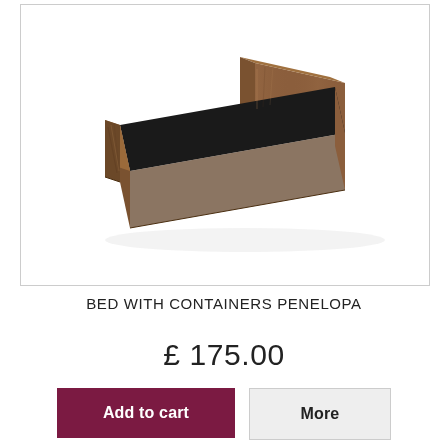[Figure (photo): A single bed with walnut wood finish frame featuring a headboard and footboard, with a dark/black mattress surface, photographed on a white background.]
BED WITH CONTAINERS PENELOPA
£ 175.00
Add to cart
More